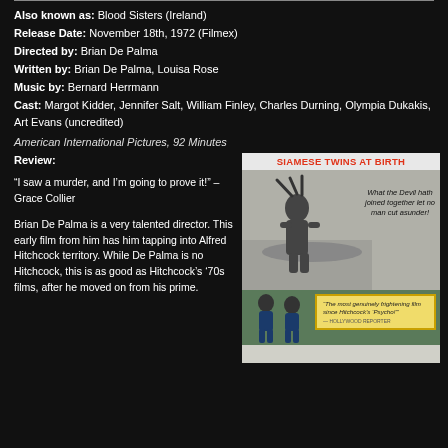Also known as: Blood Sisters (Ireland)
Release Date: November 18th, 1972 (Filmex)
Directed by: Brian De Palma
Written by: Brian De Palma, Louisa Rose
Music by: Bernard Herrmann
Cast: Margot Kidder, Jennifer Salt, William Finley, Charles Durning, Olympia Dukakis, Art Evans (uncredited)
American International Pictures, 92 Minutes
Review:
“I saw a murder, and I’m going to prove it!” – Grace Collier
Brian De Palma is a very talented director. This early film from him has him tapping into Alfred Hitchcock territory. While De Palma is no Hitchcock, this is as good as Hitchcock’s ‘70s films, after he moved on from his prime.
[Figure (illustration): Movie poster for 'Sisters' (1972) by Brian De Palma. The poster shows the title 'SIAMESE TWINS AT BIRTH' in red text at the top. The center has a black-and-white photograph of two figures, one attacking the other on a bed. The tagline reads 'What the Devil hath joined together let no man cut asunder!' on the right side. The bottom portion shows two women in a green background with a yellow quote box reading 'The most genuinely frightening film since Hitchcock\'s Psycho!']